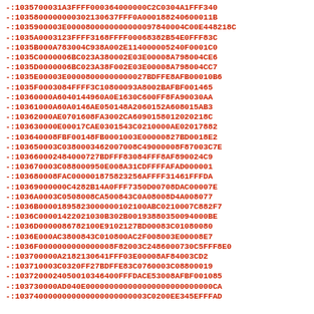-:1035700031A3FFFF000364000000C2C0304A1FFF340
-:1035800000000302130637FFF0A000188240600011B
-:1035900003E000080000000000097840004C00E448218C
-:1035A0003123FFFF3168FFFF00068382B54E0FFF83C
-:1035B000A783004C938A002E114000005240F0001C0
-:1035C0000006BC023A380002E03E00008A798004CE6
-:1035D0000006BC023A38F002E03E00008A798004CC7
-:1035E00003E000080000000000027BDFFE8AFB00010B6
-:1035F0003084FFFF3C10800093A8002BAFBF001465
-:10360000A6040144960A0E1630C600FF8FA90030AA
-:10361000A60A0146AE050148A2060152A608015AB3
-:10362000AE0701608FA3002CA60901580120202 1BC
-:103630000E00017CAE0301543C0210000AE02017882
-:103640008FBF00148FB0001003E00000827BD0018E2
-:103650003C0380003462007008C49000008F87003C7E
-:103660002484000727BDFFF83084FFF8AF890024C9
-:103670003C088000950E008A31CDFFFFAFAD000001
-:103680008FAC0000018758232564AFFFF31461FFFDA
-:10369000000C4282B14A0FFF7350D00708DAC00007E
-:1036A0003C0508008CA500843C0A08008D4A008077
-:1036B000018958230000001102100ABC0210007C882F7
-:1036C00001422021030B302B00193880350094000BE
-:1036D0000086782100E9102127BD00083C01080080
-:1036E000AC3800843C010800AC2F008003E00008E7
-:1036F00000000000008F82003C2486000730C5FFF8E0
-:103700000A2182130641FFF03E00008AF84003CD2
-:103710003C0320FF27BDFFE83C0760003C08800019
-:103720002405001034640FFFDACE53008AFBF001085
-:103730000AD040E0000000000000000000000000000CA
-:1037400000000000000000000003C0200EE345EFFFAD